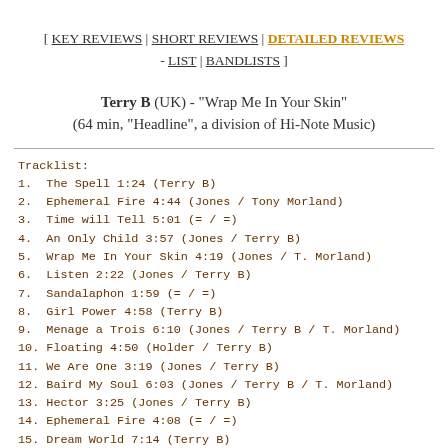[ KEY REVIEWS | SHORT REVIEWS | DETAILED REVIEWS - LIST | BANDLISTS ]
Terry B (UK) - "Wrap Me In Your Skin" (64 min, "Headline", a division of Hi-Note Music)
Tracklist:
1. The Spell 1:24 (Terry B)
2. Ephemeral Fire 4:44 (Jones / Tony Morland)
3. Time will Tell 5:01 (= / =)
4. An Only Child 3:57 (Jones / Terry B)
5. Wrap Me In Your Skin 4:19 (Jones / T. Morland)
6. Listen 2:22 (Jones / Terry B)
7. Sandalaphon 1:59 (= / =)
8. Girl Power 4:58 (Terry B)
9. Menage a Trois 6:10 (Jones / Terry B / T. Morland)
10. Floating 4:50 (Holder / Terry B)
11. We Are One 3:19 (Jones / Terry B)
12. Baird My Soul 6:03 (Jones / Terry B / T. Morland)
13. Hector 3:25 (Jones / Terry B)
14. Ephemeral Fire 4:08 (= / =)
15. Dream World 7:14 (Terry B)